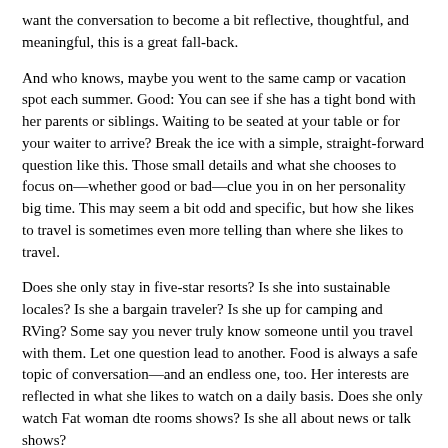want the conversation to become a bit reflective, thoughtful, and meaningful, this is a great fall-back.
And who knows, maybe you went to the same camp or vacation spot each summer. Good: You can see if she has a tight bond with her parents or siblings. Waiting to be seated at your table or for your waiter to arrive? Break the ice with a simple, straight-forward question like this. Those small details and what she chooses to focus on—whether good or bad—clue you in on her personality big time. This may seem a bit odd and specific, but how she likes to travel is sometimes even more telling than where she likes to travel.
Does she only stay in five-star resorts? Is she into sustainable locales? Is she a bargain traveler? Is she up for camping and RVing? Some say you never truly know someone until you travel with them. Let one question lead to another. Food is always a safe topic of conversation—and an endless one, too. Her interests are reflected in what she likes to watch on a daily basis. Does she only watch Fat woman dte rooms shows? Is she all about news or talk shows?
Is she an absolute reality show Fat woman dte rooms Ask her how she spends her free time! Is she on the road to self-improvement and solely re to better herself and her career, or does she read for